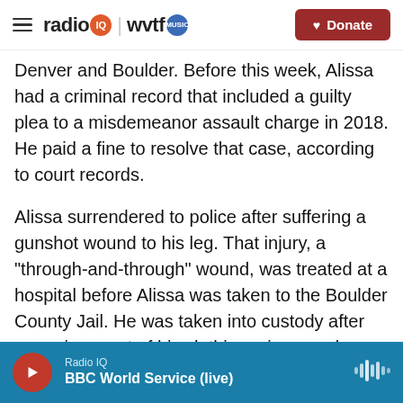radio IQ | wvtf MUSIC — Donate
Denver and Boulder. Before this week, Alissa had a criminal record that included a guilty plea to a misdemeanor assault charge in 2018. He paid a fine to resolve that case, according to court records.
Alissa surrendered to police after suffering a gunshot wound to his leg. That injury, a "through-and-through" wound, was treated at a hospital before Alissa was taken to the Boulder County Jail. He was taken into custody after removing most of his clothing – jeans, a long-sleeve shirt and a tactical vest – and walking backward toward police,
Radio IQ — BBC World Service (live)